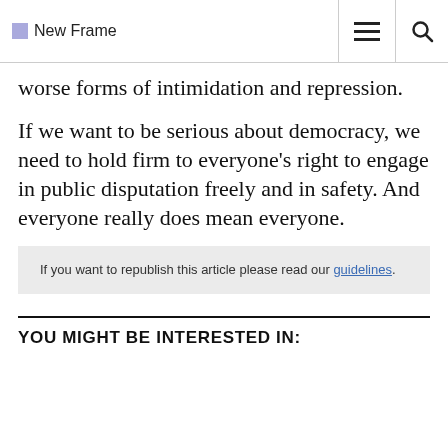New Frame
worse forms of intimidation and repression.
If we want to be serious about democracy, we need to hold firm to everyone's right to engage in public disputation freely and in safety. And everyone really does mean everyone.
If you want to republish this article please read our guidelines.
YOU MIGHT BE INTERESTED IN: